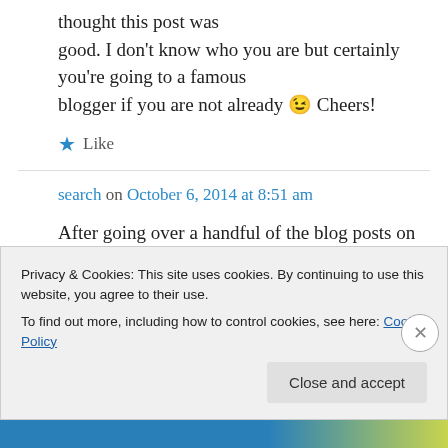thought this post was good. I don't know who you are but certainly you're going to a famous blogger if you are not already 😉 Cheers!
★ Like
search on October 6, 2014 at 8:51 am
After going over a handful of the blog posts on your blog, I seriously appreciate your way of blogging. I saved it to my bookmark
Privacy & Cookies: This site uses cookies. By continuing to use this website, you agree to their use. To find out more, including how to control cookies, see here: Cookie Policy
Close and accept